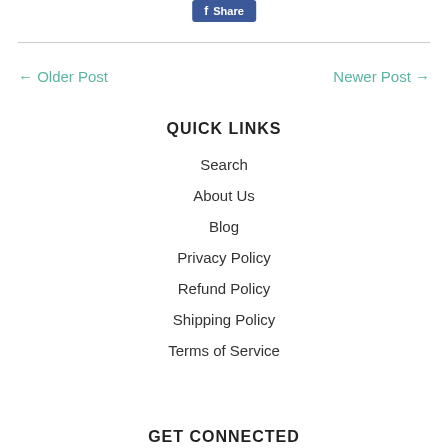[Figure (other): Facebook Share button with f icon and 'Share' text on blue background]
← Older Post
Newer Post →
QUICK LINKS
Search
About Us
Blog
Privacy Policy
Refund Policy
Shipping Policy
Terms of Service
GET CONNECTED